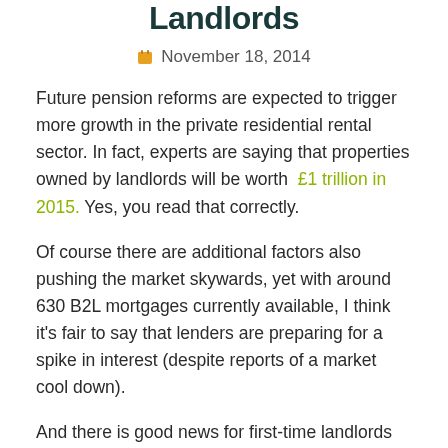Landlords
November 18, 2014
Future pension reforms are expected to trigger more growth in the private residential rental sector. In fact, experts are saying that properties owned by landlords will be worth £1 trillion in 2015. Yes, you read that correctly.
Of course there are additional factors also pushing the market skywards, yet with around 630 B2L mortgages currently available, I think it's fair to say that lenders are preparing for a spike in interest (despite reports of a market cool down).
And there is good news for first-time landlords who have previously been seen as less attractive customers. Lenders are now opening up by